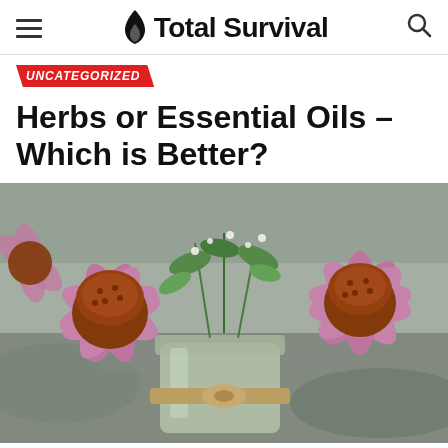Total Survival
UNCATEGORIZED
Herbs or Essential Oils – Which is Better?
[Figure (photo): A mason jar filled with purple coneflower (echinacea) blooms and green herbs, tied with a burlap ribbon, sitting on a stone surface outdoors.]